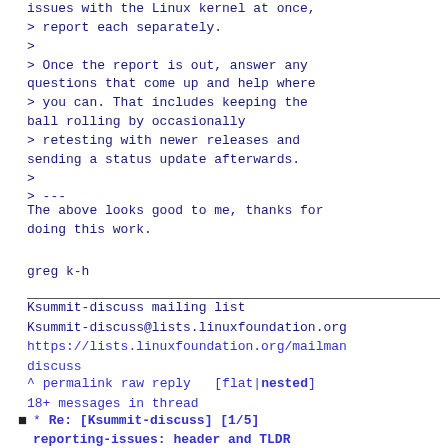issues with the Linux kernel at once,
> report each separately.
>
> Once the report is out, answer any
questions that come up and help where
> you can. That includes keeping the
ball rolling by occasionally
> retesting with newer releases and
sending a status update afterwards.
>
> ---
The above looks good to me, thanks for
doing this work.
greg k-h
Ksummit-discuss mailing list
Ksummit-discuss@lists.linuxfoundation.org
https://lists.linuxfoundation.org/mailman/discuss
^ permalink raw reply   [flat|nested]
18+ messages in thread
* Re: [Ksummit-discuss] [1/5] reporting-issues: header and TLDR
2021-03-28  9:23    ` Thorsten Leemhuis